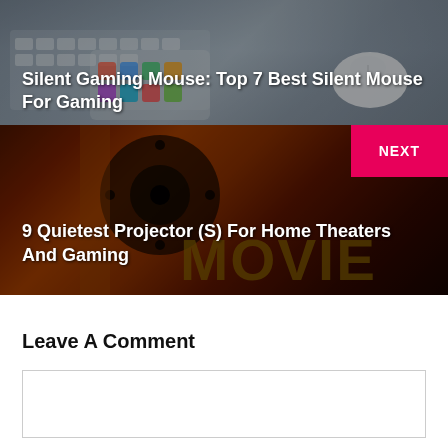[Figure (photo): Photo of keyboard, tablet with app icons, and white mouse on desk with dark overlay]
Silent Gaming Mouse: Top 7 Best Silent Mouse For Gaming
[Figure (photo): Dark movie theater themed background with orange film reel silhouette and MOVIE text, with NEXT badge]
9 Quietest Projector (S) For Home Theaters And Gaming
Leave A Comment